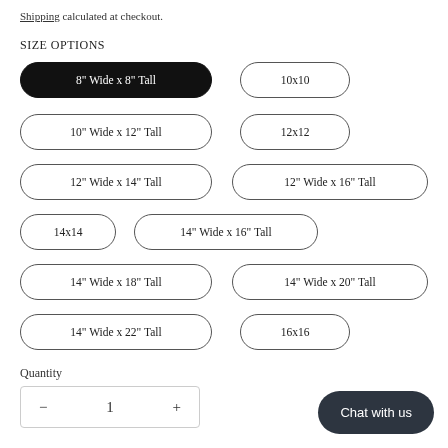Shipping calculated at checkout.
SIZE OPTIONS
8" Wide x 8" Tall (selected)
10x10
10" Wide x 12" Tall
12x12
12" Wide x 14" Tall
12" Wide x 16" Tall
14x14
14" Wide x 16" Tall
14" Wide x 18" Tall
14" Wide x 20" Tall
14" Wide x 22" Tall
16x16
Quantity
- 1 +
Chat with us